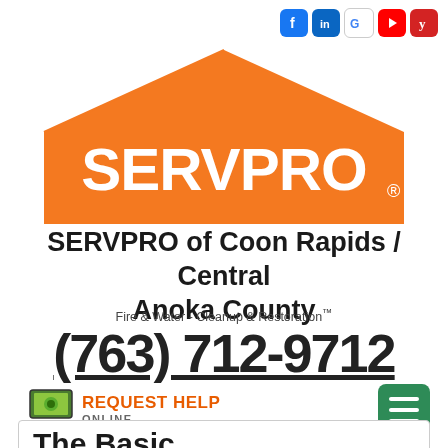[Figure (logo): SERVPRO orange house logo with white SERVPRO text inside]
SERVPRO of Coon Rapids / Central Anoka County
Fire & Water - Cleanup & Restoration™
(763) 712-9712
REQUEST HELP ONLINE
[Figure (infographic): Green hamburger menu button]
The Basic